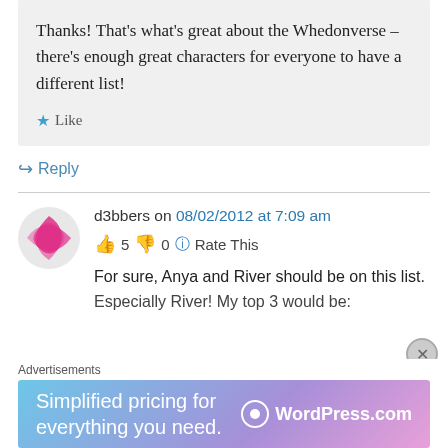Thanks! That's what's great about the Whedonverse – there's enough great characters for everyone to have a different list!
Like
Reply
d3bbers on 08/02/2012 at 7:09 am
5  0  Rate This
For sure, Anya and River should be on this list.
Especially River! My top 3 would be:
Advertisements
[Figure (screenshot): WordPress.com advertisement banner with text 'Simplified pricing for everything you need.']